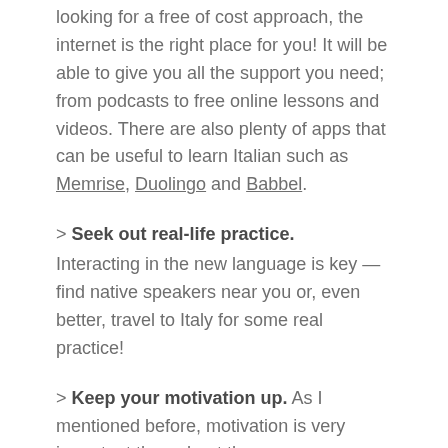looking for a free of cost approach, the internet is the right place for you! It will be able to give you all the support you need; from podcasts to free online lessons and videos. There are also plenty of apps that can be useful to learn Italian such as Memrise, Duolingo and Babbel.
> Seek out real-life practice.
Interacting in the new language is key — find native speakers near you or, even better, travel to Italy for some real practice!
> Keep your motivation up.
As I mentioned before, motivation is very important throughout the